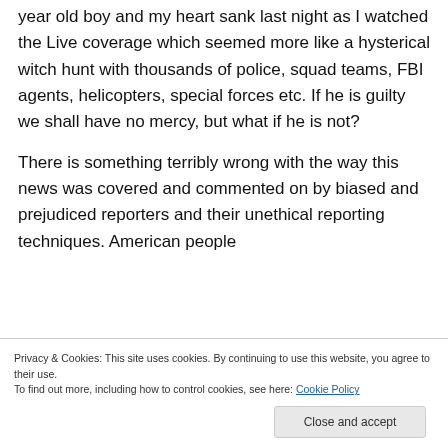year old boy and my heart sank last night as I watched the Live coverage which seemed more like a hysterical witch hunt with thousands of police, squad teams, FBI agents, helicopters, special forces etc. If he is guilty we shall have no mercy, but what if he is not?
There is something terribly wrong with the way this news was covered and commented on by biased and prejudiced reporters and their unethical reporting techniques. American people
Privacy & Cookies: This site uses cookies. By continuing to use this website, you agree to their use.
To find out more, including how to control cookies, see here: Cookie Policy
teachers had us read at 8th grade. We are after